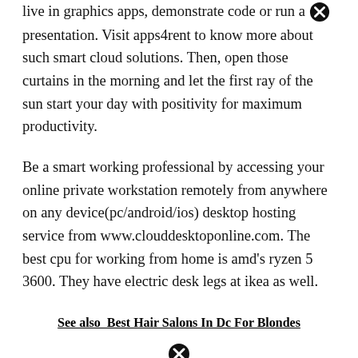live in graphics apps, demonstrate code or run a presentation. Visit apps4rent to know more about such smart cloud solutions. Then, open those curtains in the morning and let the first ray of the sun start your day with positivity for maximum productivity.
Be a smart working professional by accessing your online private workstation remotely from anywhere on any device(pc/android/ios) desktop hosting service from www.clouddesktoponline.com. The best cpu for working from home is amd’s ryzen 5 3600. They have electric desk legs at ikea as well.
See also  Best Hair Salons In Dc For Blondes